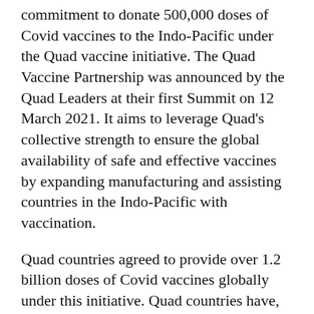commitment to donate 500,000 doses of Covid vaccines to the Indo-Pacific under the Quad vaccine initiative. The Quad Vaccine Partnership was announced by the Quad Leaders at their first Summit on 12 March 2021. It aims to leverage Quad's collective strength to ensure the global availability of safe and effective vaccines by expanding manufacturing and assisting countries in the Indo-Pacific with vaccination.
Quad countries agreed to provide over 1.2 billion doses of Covid vaccines globally under this initiative. Quad countries have, so far, collectively provided Cambodia with close to five million Covid vaccine doses bilaterally and through COVAX. Quad countries have also provided last-mile delivery assistance to ensure that vaccines are translated into